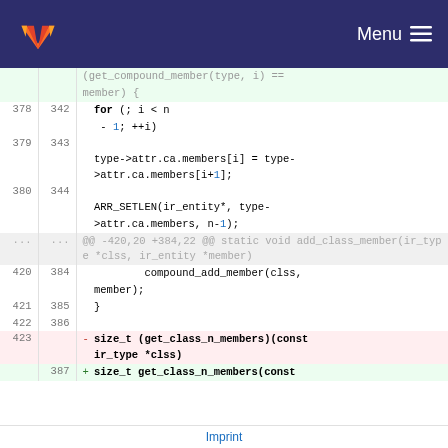GitLab — Menu
[Figure (screenshot): GitLab diff view showing code changes in a C source file. Lines 378-386 show context and modified code including for loop, array member assignments, ARR_SETLEN call, and compound_add_member call. Line 423 shows a deleted line with size_t (get_class_n_members)(const ir_type *clss) and line 387 shows an added line beginning with size_t get_class_n_members(const.]
Imprint